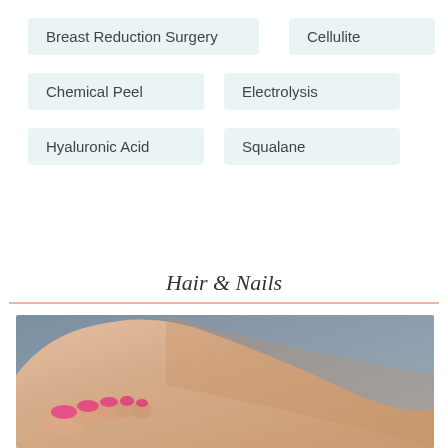Breast Reduction Surgery
Cellulite
Chemical Peel
Electrolysis
Hyaluronic Acid
Squalane
Hair & Nails
[Figure (photo): Close-up photo of a foot with pink toenails resting on a white towel, with grey background]